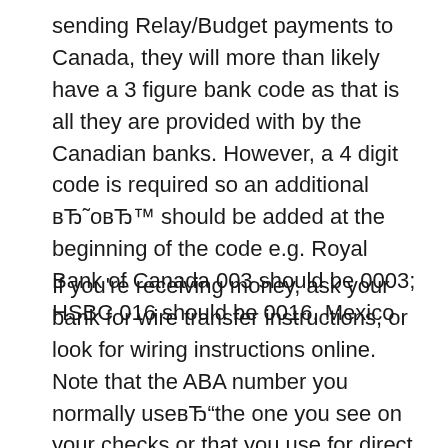sending Relay/Budget payments to Canada, they will more than likely have a 3 figure bank code as that is all they are provided with by the Canadian banks. However, a 4 digit code is required so an additional вЂ˜овЂ™ should be added at the beginning of the code e.g. Royal Bank of Canada 003 should be 0003; HSBC 016 should be 0016. Mexico
If you're receiving money, ask your bank for wire transfer instructions, or look for wiring instructions online. Note that the ABA number you normally useвЂ"the one you see on your checks or that you use for direct depositвЂ"might not be the best one to use for wire transfers. International wires may require a